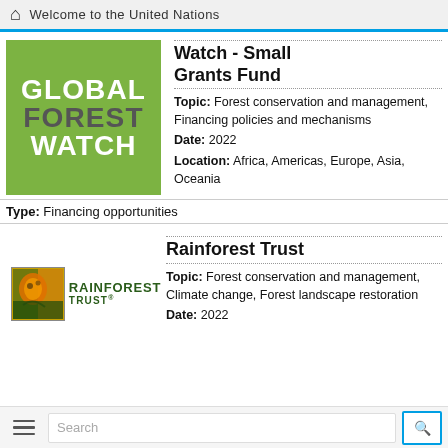Welcome to the United Nations
[Figure (logo): Global Forest Watch green logo with white and grey text]
Watch - Small Grants Fund
Topic: Forest conservation and management, Financing policies and mechanisms
Date: 2022
Location: Africa, Americas, Europe, Asia, Oceania
Type: Financing opportunities
[Figure (logo): Rainforest Trust logo with tiger image and green text]
Rainforest Trust
Topic: Forest conservation and management, Climate change, Forest landscape restoration
Date: 2022
Search